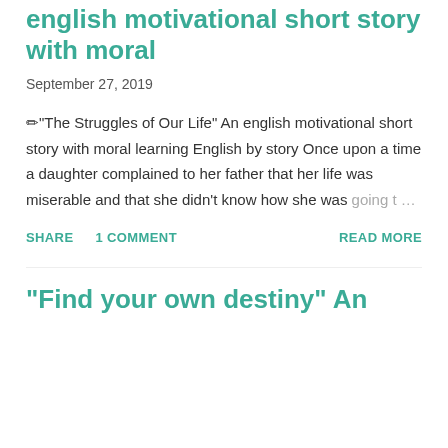english motivational short story with moral
September 27, 2019
✏"The Struggles of Our Life" An english motivational short story with moral learning English by story Once upon a time a daughter complained to her father that her life was miserable and that she didn't know how she was going t …
SHARE   1 COMMENT   READ MORE
"Find your own destiny" An